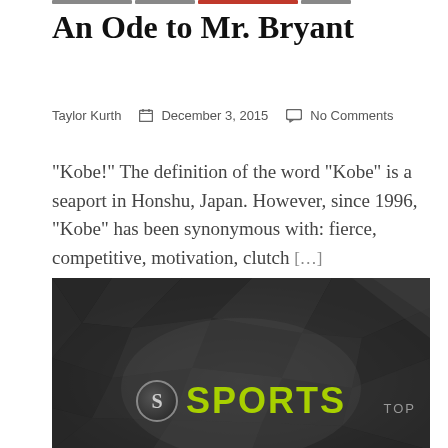An Ode to Mr. Bryant
Taylor Kurth  📅 December 3, 2015  💬 No Comments
“Kobe!” The definition of the word “Kobe” is a seaport in Honshu, Japan. However, since 1996, “Kobe” has been synonymous with: fierce, competitive, motivation, clutch [...]
[Figure (logo): Sports section logo on dark polygon background with S-circle icon, green SPORTS text, and TOP label in corner]